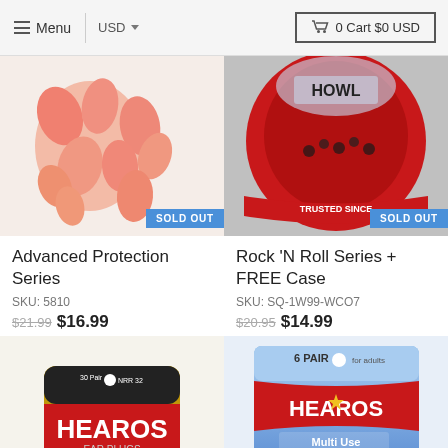Menu | USD ▼ | 0 Cart $0 USD
[Figure (photo): Loose pink foam ear plugs in a container, partially cropped, with SOLD OUT badge]
Advanced Protection Series
SKU: 5810
$21.99 $16.99
[Figure (photo): HEAROS Rock N Roll ear plugs product packaging with TRUSTED SINCE text, partially cropped, with SOLD OUT badge]
Rock 'N Roll Series + FREE Case
SKU: SQ-1W99-WCO7
$20.95 $14.99
[Figure (photo): HEAROS Ultimate Softness ear plugs in yellow canister, 30 pair NRR 32, TRUSTED SINCE 1992, with ON SALE badge]
[Figure (photo): HEAROS Multi Use Silicone ear plugs, 6 pair, for adults, blue packaging, with SOLD OUT badge]